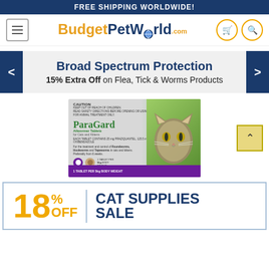FREE SHIPPING WORLDWIDE!
[Figure (logo): BudgetPetWorld.com logo with navigation icons (hamburger menu, cart, search)]
[Figure (infographic): Promotional banner: Broad Spectrum Protection - 15% Extra Off on Flea, Tick & Worms Products with left/right navigation arrows]
[Figure (photo): ParaGard Allwormer Tablets for cats and kittens product packaging with a cat photo]
[Figure (infographic): 18% OFF CAT SUPPLIES SALE banner with blue border]